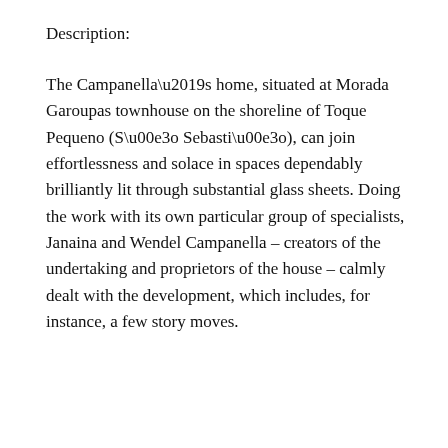Description:
The Campanella’s home, situated at Morada Garoupas townhouse on the shoreline of Toque Pequeno (São Sebastião), can join effortlessness and solace in spaces dependably brilliantly lit through substantial glass sheets. Doing the work with its own particular group of specialists, Janaina and Wendel Campanella – creators of the undertaking and proprietors of the house – calmly dealt with the development, which includes, for instance, a few story moves.